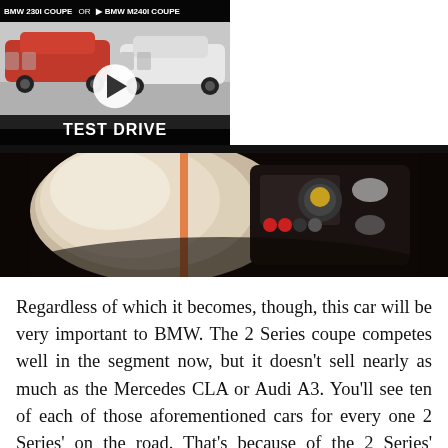[Figure (screenshot): YouTube-style video card thumbnail showing two BMW coupes (red and white) side by side with a play button overlay, channel label 'BMW 230I COUPE OR BMW M240I COUPE' at top, 'TEST DRIVE' label at bottom, alongside black panel with title 'BMW 230i vs M240i Coupe | Side-by-Side | 4K' and a close button]
[Figure (photo): Interior car photo showing white/cream leather seat and center console with orange accent stitching and illuminated controls, dark background]
Regardless of which it becomes, though, this car will be very important to BMW. The 2 Series coupe competes well in the segment now, but it doesn't sell nearly as much as the Mercedes CLA or Audi A3. You'll see ten of each of those aforementioned cars for every one 2 Series' on the road. That's because of the 2 Series' coupe-like lack of practicality, versus the other two sedans. Admittedly, the 2 Series actually has better interior